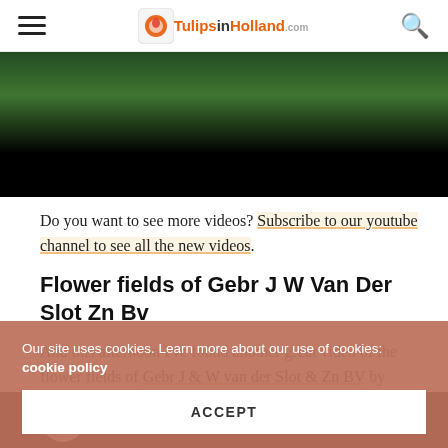TulipsinHolland.com
[Figure (photo): Top portion of a video thumbnail showing flower fields, mostly black with flower imagery at top]
Do you want to see more videos? Subscribe to our youtube channel to see all the new videos.
Flower fields of Gebr J W Van Der Slot Zn Bv
And this afternoon I've found another great video of the flower fields of Gebr J & W van der Slot & Zn BV by drone! Spectacular views! Have a look yourself.
[Figure (screenshot): Bottom portion of a video player thumbnail, dark background with circular avatar]
Our site uses cookies. Learn more about our use of cookies: cookie policy